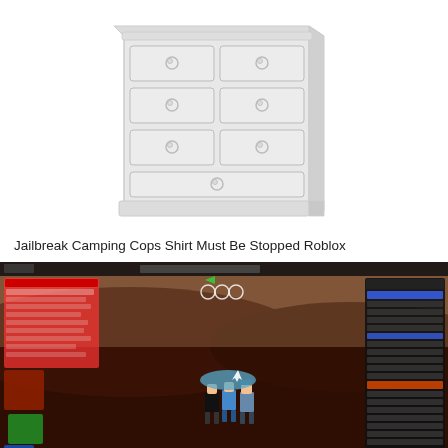[Figure (illustration): A white wooden dresser with multiple drawers and round knobs, shown at a slight angle. The image is faded/light.]
Jailbreak Camping Cops Shirt Must Be Stopped Roblox
[Figure (screenshot): A screenshot from the Roblox game Jailbreak showing a dark reddish-brown outdoor terrain with Roblox character figures visible. UI elements including a leaderboard panel are visible on the right side, and a chat/score panel on the left. The scene shows characters near what appears to be police camping spot.]